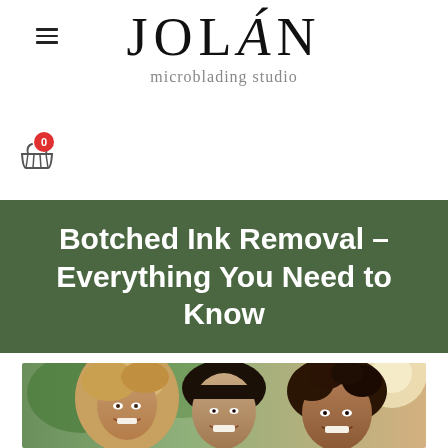≡
[Figure (logo): JOLÁN microblading studio logo with large serif text and subtitle]
[Figure (other): Shopping cart icon with red badge showing 0]
Botched Ink Removal – Everything You Need to Know
[Figure (photo): Three smiling women photographed outdoors with sunlight in background]